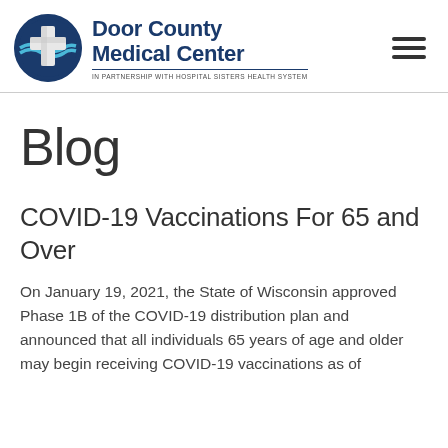[Figure (logo): Door County Medical Center logo with circular blue cross/medical icon and text 'Door County Medical Center - In Partnership with Hospital Sisters Health System']
Blog
COVID-19 Vaccinations For 65 and Over
On January 19, 2021, the State of Wisconsin approved Phase 1B of the COVID-19 distribution plan and announced that all individuals 65 years of age and older may begin receiving COVID-19 vaccinations as of